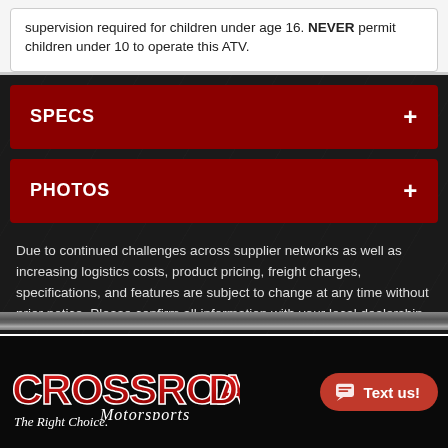supervision required for children under age 16. NEVER permit children under 10 to operate this ATV.
SPECS
PHOTOS
Due to continued challenges across supplier networks as well as increasing logistics costs, product pricing, freight charges, specifications, and features are subject to change at any time without prior notice. Please confirm all information with your local dealership.
[Figure (logo): Crossroads Motorsports logo with tagline 'The Right Choice.' and a red 'Text us!' chat button overlay]